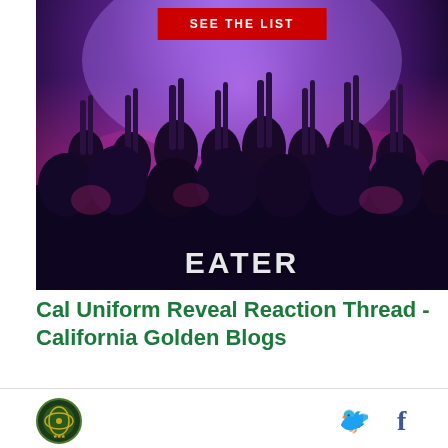[Figure (photo): Concert crowd with arms raised, lit by purple and pink stage lighting, with a red 'SEE THE LIST' button overlaid at the top center and the EATER logo watermark at the bottom center]
Cal Uniform Reveal Reaction Thread - California Golden Blogs
[Figure (logo): Round site logo with green and yellow design]
[Figure (other): Twitter bird icon in cyan blue]
[Figure (other): Facebook 'f' icon in dark blue]